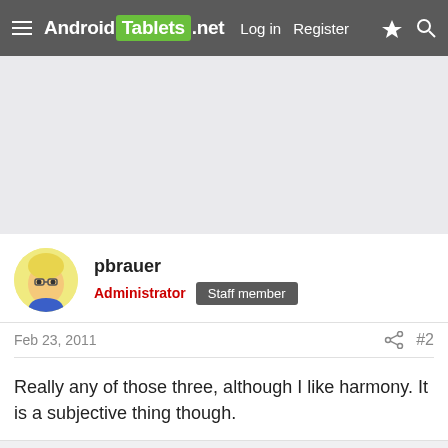Android Tablets .net  Log in  Register
[Figure (screenshot): Advertisement/banner area placeholder with light gray background]
pbrauer
Administrator  Staff member
Feb 23, 2011  #2
Really any of those three, although I like harmony. It is a subjective thing though.